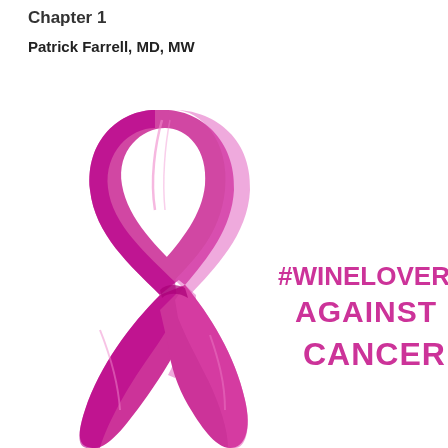Chapter 1
Patrick Farrell, MD, MW
[Figure (illustration): A large pink/magenta breast cancer awareness ribbon on a white background, with bold magenta text reading '#WINELOVER-S AGAINST CANCER' to the right of the ribbon's center.]